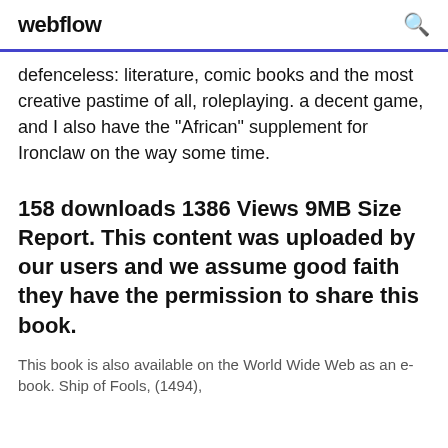webflow
defenceless: literature, comic books and the most creative pastime of all, roleplaying. a decent game, and I also have the "African" supplement for Ironclaw on the way some time.
158 downloads 1386 Views 9MB Size Report. This content was uploaded by our users and we assume good faith they have the permission to share this book.
This book is also available on the World Wide Web as an e-book. Ship of Fools, (1494),